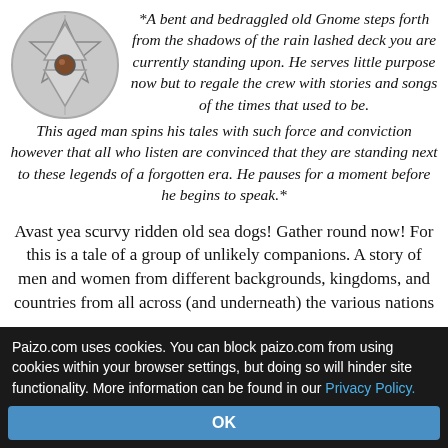[Figure (photo): A circular emblem or medallion featuring a six-pointed star (Star of David) design in silver/grey with a brown gemstone or eye in the center.]
*A bent and bedraggled old Gnome steps forth from the shadows of the rain lashed deck you are currently standing upon. He serves little purpose now but to regale the crew with stories and songs of the times that used to be. This aged man spins his tales with such force and conviction however that all who listen are convinced that they are standing next to these legends of a forgotten era. He pauses for a moment before he begins to speak.*
Avast yea scurvy ridden old sea dogs! Gather round now! For this is a tale of a group of unlikely companions. A story of men and women from different backgrounds, kingdoms, and countries from all across (and underneath) the various nations
Paizo.com uses cookies. You can block paizo.com from using cookies within your browser settings, but doing so will hinder site functionality. More information can be found in our Privacy Policy.
OK